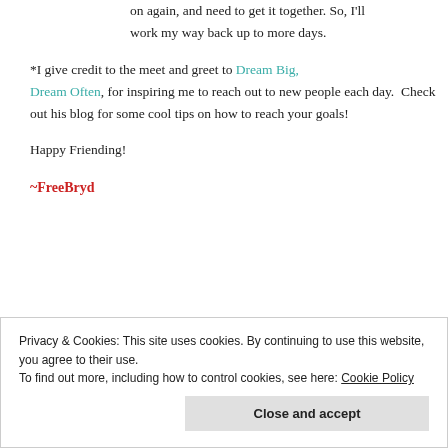on again, and need to get it together. So, I'll work my way back up to more days.
*I give credit to the meet and greet to Dream Big, Dream Often, for inspiring me to reach out to new people each day.  Check out his blog for some cool tips on how to reach your goals!
Happy Friending!
~FreeBryd
Privacy & Cookies: This site uses cookies. By continuing to use this website, you agree to their use.
To find out more, including how to control cookies, see here: Cookie Policy
Close and accept